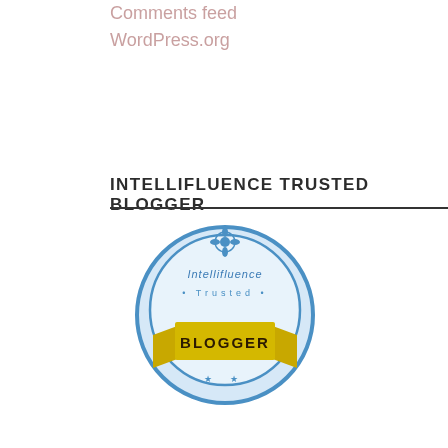Entries feed
Comments feed
WordPress.org
INTELLIFLUENCE TRUSTED BLOGGER
[Figure (logo): Intellifluence Trusted Blogger badge — a circular blue badge with a yellow ribbon banner and text reading 'Trusted BLOGGER']